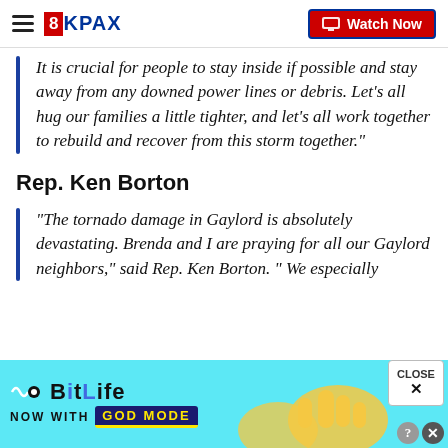8KPAX | Watch Now
It is crucial for people to stay inside if possible and stay away from any downed power lines or debris. Let’s all hug our families a little tighter, and let’s all work together to rebuild and recover from this storm together.”
Rep. Ken Borton
“The tornado damage in Gaylord is absolutely devastating. Brenda and I are praying for all our Gaylord neighbors,” said Rep. Ken Borton. “ We especially
[Figure (screenshot): BitLife - Now with God Mode advertisement banner]